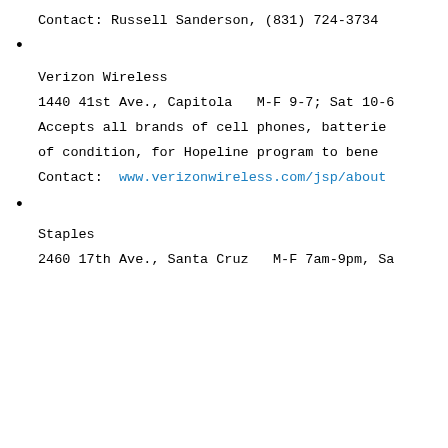Contact: Russell Sanderson, (831) 724-3734
Verizon Wireless
1440 41st Ave., Capitola  M-F 9-7; Sat 10-6
Accepts all brands of cell phones, batteries
of condition, for Hopeline program to bene
Contact: www.verizonwireless.com/jsp/about
Staples
2460 17th Ave., Santa Cruz  M-F 7am-9pm, Sa